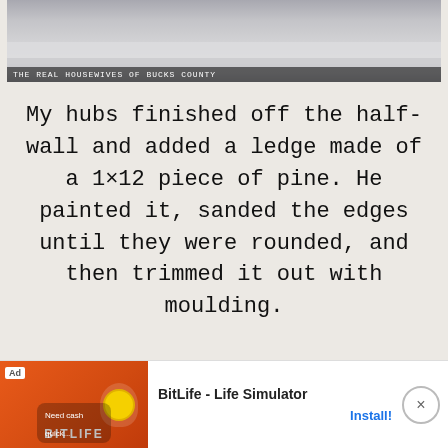[Figure (photo): Photo of white wooden shelving or half-wall with moulding trim, with overlaid text caption 'THE REAL HOUSEWIVES OF BUCKS COUNTY']
My hubs finished off the half-wall and added a ledge made of a 1×12 piece of pine. He painted it, sanded the edges until they were rounded, and then trimmed it out with moulding.
[Figure (screenshot): Advertisement banner for BitLife - Life Simulator app with orange background, cartoon character, and Install button]